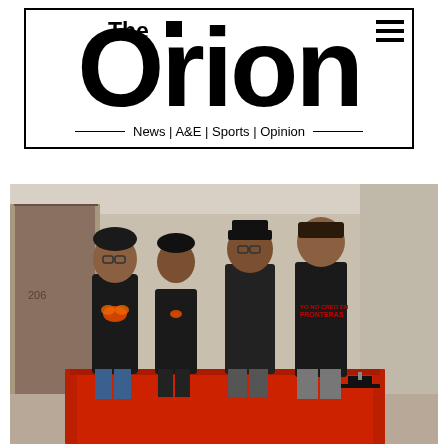[Figure (logo): The Orion newspaper logo with tagline 'News | A&E | Sports | Opinion']
[Figure (photo): Four students in black t-shirts standing behind a red-clothed table in a room, with graduation cap visible on table]